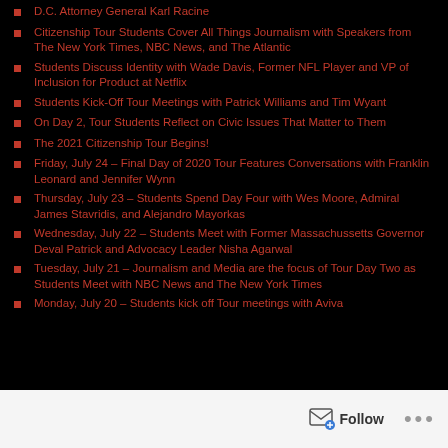D.C. Attorney General Karl Racine
Citizenship Tour Students Cover All Things Journalism with Speakers from The New York Times, NBC News, and The Atlantic
Students Discuss Identity with Wade Davis, Former NFL Player and VP of Inclusion for Product at Netflix
Students Kick-Off Tour Meetings with Patrick Williams and Tim Wyant
On Day 2, Tour Students Reflect on Civic Issues That Matter to Them
The 2021 Citizenship Tour Begins!
Friday, July 24 – Final Day of 2020 Tour Features Conversations with Franklin Leonard and Jennifer Wynn
Thursday, July 23 – Students Spend Day Four with Wes Moore, Admiral James Stavridis, and Alejandro Mayorkas
Wednesday, July 22 – Students Meet with Former Massachussetts Governor Deval Patrick and Advocacy Leader Nisha Agarwal
Tuesday, July 21 – Journalism and Media are the focus of Tour Day Two as Students Meet with NBC News and The New York Times
Monday, July 20 – Students kick off Tour meetings with Aviva
Follow